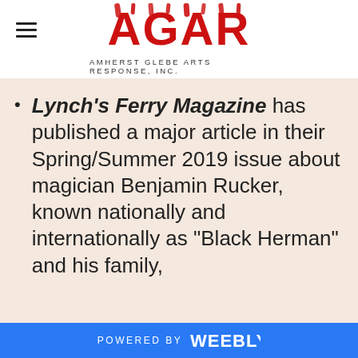[Figure (logo): AGAR logo — stylized red flame text 'AGAR' with tagline 'AMHERST GLEBE ARTS RESPONSE, INC.']
Lynch's Ferry Magazine has published a major article in their Spring/Summer 2019 issue about magician Benjamin Rucker, known nationally and internationally as “Black Herman” and his family,
POWERED BY weebly